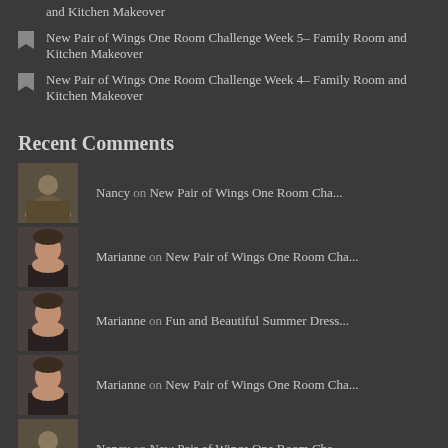and Kitchen Makeover
New Pair of Wings One Room Challenge Week 5– Family Room and Kitchen Makeover
New Pair of Wings One Room Challenge Week 4– Family Room and Kitchen Makeover
Recent Comments
Nancy on New Pair of Wings One Room Cha...
Marianne on New Pair of Wings One Room Cha...
Marianne on Fun and Beautiful Summer Dress...
Marianne on New Pair of Wings One Room Cha...
Nancy on New Pair of Wings One Room Cha...